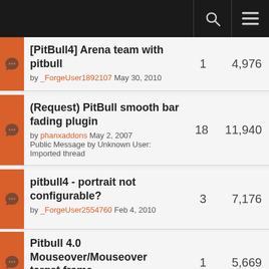[PitBull4] Arena team with pitbull
by _ForgeUser1892107 May 30, 2010
Replies: 1  Views: 4,976
(Request) PitBull smooth bar fading plugin
by phanxaddons May 2, 2007
Public Message by Unknown User: Imported thread
Replies: 18  Views: 11,940
pitbull4 - portrait not configurable?
by _ForgeUser2554760 Feb 4, 2010
Replies: 3  Views: 7,176
Pitbull 4.0 Mouseover/Mouseover target frame
by _ForgeUser575475 Jan 30, 2010
Replies: 1  Views: 5,669